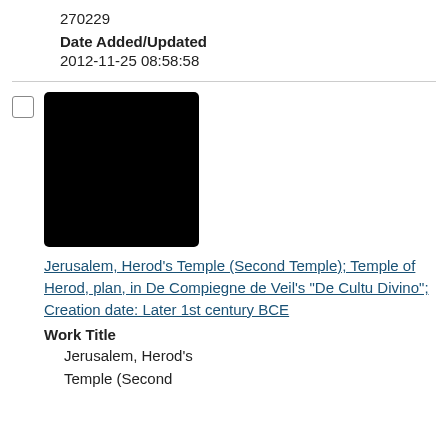270229
Date Added/Updated
2012-11-25 08:58:58
[Figure (photo): Black thumbnail image of Jerusalem Herod's Temple]
Jerusalem, Herod's Temple (Second Temple); Temple of Herod, plan, in De Compiegne de Veil's "De Cultu Divino"; Creation date: Later 1st century BCE
Work Title
Jerusalem, Herod's Temple (Second